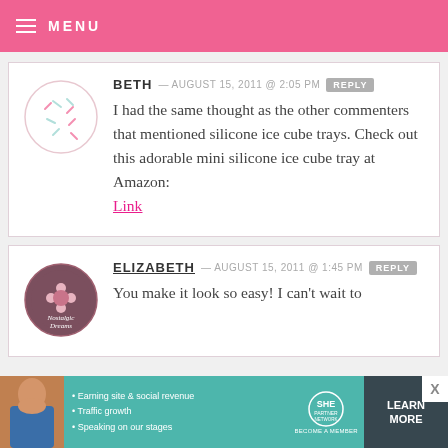MENU
BETH — AUGUST 15, 2011 @ 2:05 PM REPLY
I had the same thought as the other commenters that mentioned silicone ice cube trays. Check out this adorable mini silicone ice cube tray at Amazon:
Link
ELIZABETH — AUGUST 15, 2011 @ 1:45 PM REPLY
You make it look so easy! I can't wait to
[Figure (infographic): SHE Partner Network advertisement banner with photo, bullet points, logo, and Learn More button]